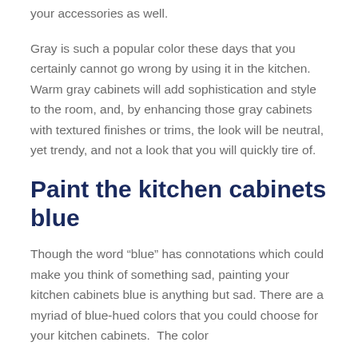your accessories as well.
Gray is such a popular color these days that you certainly cannot go wrong by using it in the kitchen. Warm gray cabinets will add sophistication and style to the room, and, by enhancing those gray cabinets with textured finishes or trims, the look will be neutral, yet trendy, and not a look that you will quickly tire of.
Paint the kitchen cabinets blue
Though the word “blue” has connotations which could make you think of something sad, painting your kitchen cabinets blue is anything but sad. There are a myriad of blue-hued colors that you could choose for your kitchen cabinets.  The color